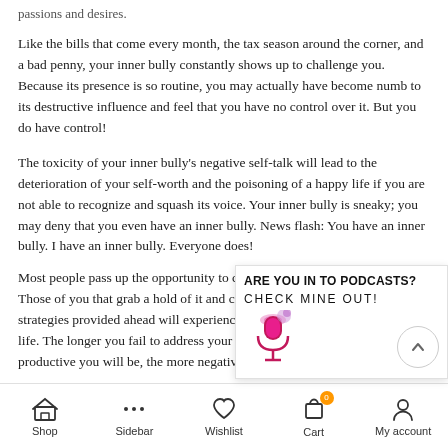passions and desires.
Like the bills that come every month, the tax season around the corner, and a bad penny, your inner bully constantly shows up to challenge you. Because its presence is so routine, you may actually have become numb to its destructive influence and feel that you have no control over it. But you do have control!
The toxicity of your inner bully’s negative self-talk will lead to the deterioration of your self-worth and the poisoning of a happy life if you are not able to recognize and squash its voice. Your inner bully is sneaky; you may deny that you even have an inner bully. News flash: You have an inner bully. I have an inner bully. Everyone does! Most people pass up the opportunity to … Those of you that grab a hold of it and co… strategies provided ahead will experience… life. The longer you fail to address your in… productive you will be, the more negative …
[Figure (infographic): Podcast promotion popup with text 'ARE YOU IN TO PODCASTS? CHECK MINE OUT!' and a pink/purple microphone icon, plus a scroll-up arrow button]
Shop   Sidebar   Wishlist   Cart (0)   My account